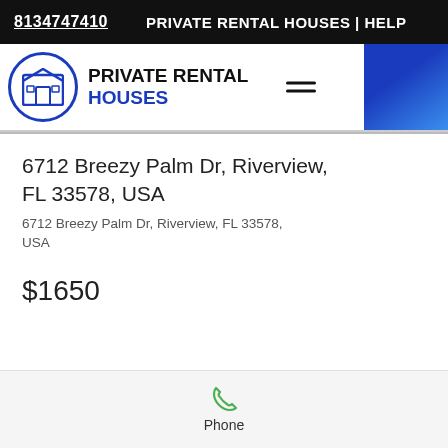8134747410  PRIVATE RENTAL HOUSES | HELP
PRIVATE RENTAL HOUSES
6712 Breezy Palm Dr, Riverview, FL 33578, USA
6712 Breezy Palm Dr, Riverview, FL 33578, USA
$1650
Phone